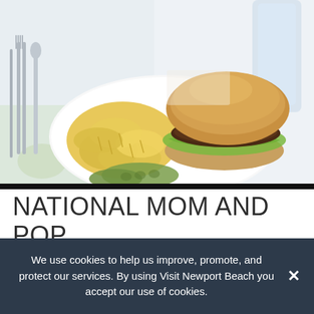[Figure (photo): A burger with bacon, lettuce, and toppings on a bun served on a white plate with crinkle-cut potato chips and pickles, on a floral tablecloth with silverware on the left and a glass of water on the right.]
NATIONAL MOM AND POP BUSINESS OWNER DAY IS RECOGNIZED ON MARCH 29!
We use cookies to help us improve, promote, and protect our services. By using Visit Newport Beach you accept our use of cookies.